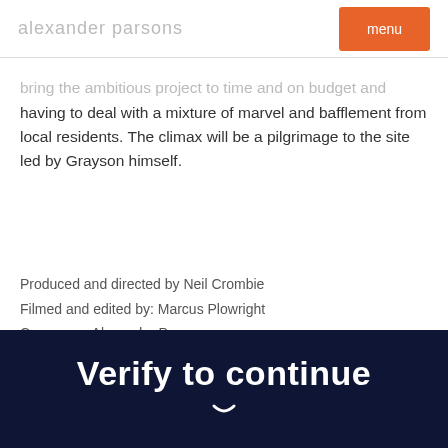alexander parsons | menu
having to deal with a mixture of marvel and bafflement from local residents. The climax will be a pilgrimage to the site led by Grayson himself.
Produced and directed by Neil Crombie
Filmed and edited by: Marcus Plowright
Composer: Alexander Parsons
Production Company: Swan Films
[Figure (screenshot): Dark navy banner with bold white text reading 'Verify to continue' and a small icon below]